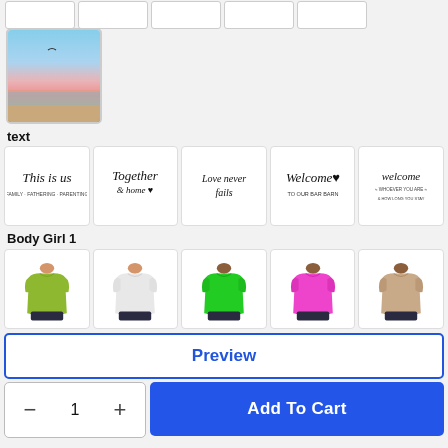[Figure (screenshot): Top strip with multiple small thumbnail boxes partially visible]
[Figure (photo): Sunset/beach scene thumbnail with blue sky, pink clouds, and sandy beach]
text
[Figure (screenshot): Five text design options: 'This is us', 'Together at home', 'Love never fails', 'Welcome to our home', 'welcome']
Body Girl 1
[Figure (screenshot): Five body/shirt options: yellow-green, white, green, pink/magenta, tan/beige colored shirts on female body forms]
Preview
1
Add To Cart